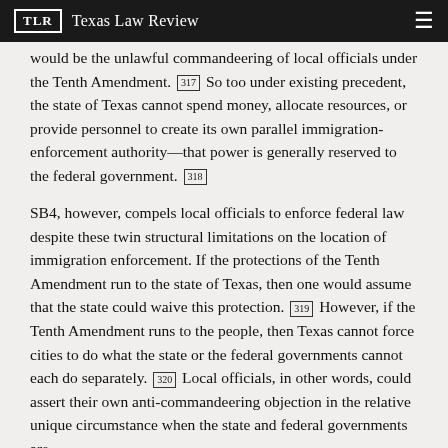TLR  Texas Law Review
would be the unlawful commandeering of local officials under the Tenth Amendment. [317] So too under existing precedent, the state of Texas cannot spend money, allocate resources, or provide personnel to create its own parallel immigration-enforcement authority—that power is generally reserved to the federal government. [318]
SB4, however, compels local officials to enforce federal law despite these twin structural limitations on the location of immigration enforcement. If the protections of the Tenth Amendment run to the state of Texas, then one would assume that the state could waive this protection. [319] However, if the Tenth Amendment runs to the people, then Texas cannot force cities to do what the state or the federal governments cannot each do separately. [320] Local officials, in other words, could assert their own anti-commandeering objection in the relative unique circumstance when the state and federal governments are separately disabled from acting. To allow them to overcome the